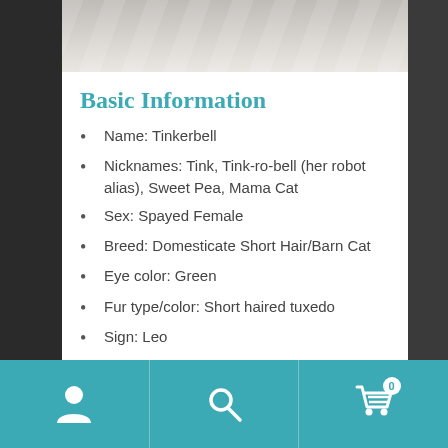[Figure (photo): Partial photo of a cat lying on white fabric/rope, cropped at top]
Basic Information
Name: Tinkerbell
Nicknames: Tink, Tink-ro-bell (her robot alias), Sweet Pea, Mama Cat
Sex: Spayed Female
Breed: Domesticate Short Hair/Barn Cat
Eye color: Green
Fur type/color: Short haired tuxedo
Sign: Leo
Siblings: Yes, one brother, one sister, both younger
Navigation bar with person icon, search icon, and cart icon with badge 0